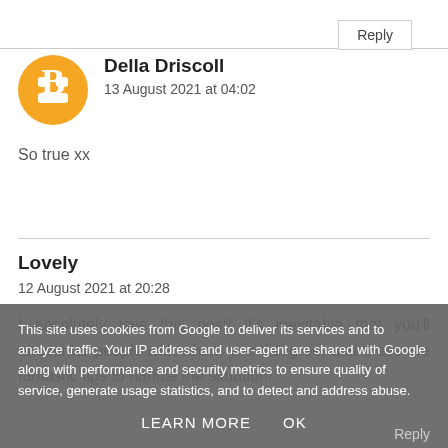Reply
Della Driscoll
13 August 2021 at 04:02

So true xx
Lovely
12 August 2021 at 20:28

I absolutely love this post! It's inevitable that you'll encounter people with whom you disagree, and these are fantastic tips to handle the situation!
This site uses cookies from Google to deliver its services and to analyze traffic. Your IP address and user-agent are shared with Google along with performance and security metrics to ensure quality of service, generate usage statistics, and to detect and address abuse.
LEARN MORE   OK